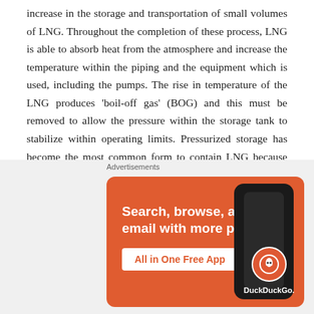increase in the storage and transportation of small volumes of LNG. Throughout the completion of these process, LNG is able to absorb heat from the atmosphere and increase the temperature within the piping and the equipment which is used, including the pumps. The rise in temperature of the LNG produces 'boil-off gas' (BOG) and this must be removed to allow the pressure within the storage tank to stabilize within operating limits. Pressurized storage has become the most common form to contain LNG because this enables the BOG to remain within the tank longer than compared to atmospheric tanks. The boiling point of the product increases and therefore the rate at which the BOG is generated is
[Figure (other): DuckDuckGo advertisement banner with orange background. Text reads: 'Search, browse, and email with more privacy. All in One Free App'. Shows a smartphone with DuckDuckGo logo and branding.]